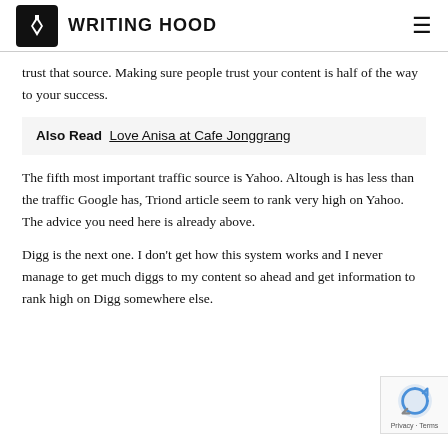WRITING HOOD
trust that source. Making sure people trust your content is half of the way to your success.
Also Read  Love Anisa at Cafe Jonggrang
The fifth most important traffic source is Yahoo. Altough is has less than the traffic Google has, Triond article seem to rank very high on Yahoo. The advice you need here is already above.
Digg is the next one. I don't get how this system works and I never manage to get much diggs to my content so ahead and get information to rank high on Digg somewhere else.